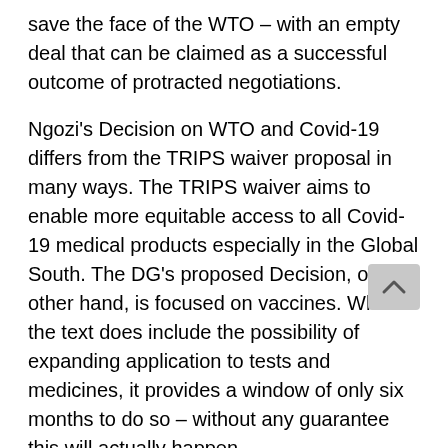save the face of the WTO – with an empty deal that can be claimed as a successful outcome of protracted negotiations.
Ngozi's Decision on WTO and Covid-19 differs from the TRIPS waiver proposal in many ways. The TRIPS waiver aims to enable more equitable access to all Covid-19 medical products especially in the Global South. The DG's proposed Decision, on the other hand, is focused on vaccines. While the text does include the possibility of expanding application to tests and medicines, it provides a window of only six months to do so – without any guarantee this will actually happen.
The document also has clear flaws where ambition and coverage are concerned. Instead of introducing new, easily navigable mechanisms for governments to rely upon, the DG's Decision limits itself to clarifying existing caveats to trade rules that enable governments to sidestep patents, also called compulsory licensing. Finally